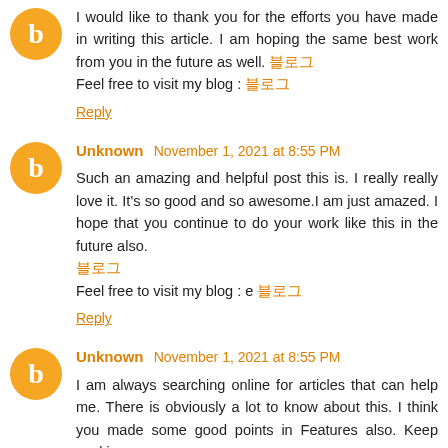I would like to thank you for the efforts you have made in writing this article. I am hoping the same best work from you in the future as well. 블로그 Feel free to visit my blog : 블로그
Reply
Unknown  November 1, 2021 at 8:55 PM
Such an amazing and helpful post this is. I really really love it. It's so good and so awesome.I am just amazed. I hope that you continue to do your work like this in the future also. 블로그 Feel free to visit my blog : e 블로그
Reply
Unknown  November 1, 2021 at 8:55 PM
I am always searching online for articles that can help me. There is obviously a lot to know about this. I think you made some good points in Features also. Keep working,